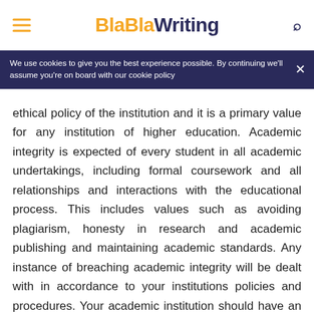BlaBlaWriting
We use cookies to give you the best experience possible. By continuing we'll assume you're on board with our cookie policy
ethical policy of the institution and it is a primary value for any institution of higher education. Academic integrity is expected of every student in all academic undertakings, including formal coursework and all relationships and interactions with the educational process. This includes values such as avoiding plagiarism, honesty in research and academic publishing and maintaining academic standards. Any instance of breaching academic integrity will be dealt with in accordance to your institutions policies and procedures. Your academic institution should have an explanation of the rules, regulations and expectations listed in your student handbook. As a new student, one thing that excites me about this university is all of the resources that are available. They pretty much ensure